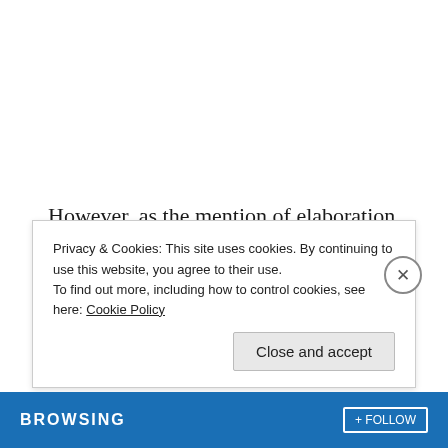However, as the mention of elaboration alludes to, we're not finished with this topic yet...
Those lovely people at the KCCUK have begun to bring films from this season to our homes!
Privacy & Cookies: This site uses cookies. By continuing to use this website, you agree to their use.
To find out more, including how to control cookies, see here: Cookie Policy
Close and accept
[Figure (screenshot): Bottom navigation bar in blue with 'BROWSING' text in white bold uppercase letters and a follow/subscribe button on the right]